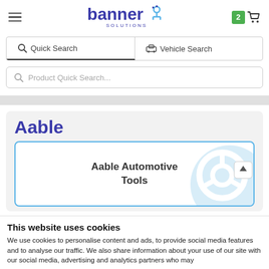Banner Solutions – navigation header with hamburger menu, logo, and cart (2 items)
Quick Search | Vehicle Search
Product Quick Search...
Aable
[Figure (illustration): Aable Automotive Tools card with light blue car steering wheel graphic and arrow button]
This website uses cookies
We use cookies to personalise content and ads, to provide social media features and to analyse our traffic. We also share information about your use of our site with our social media, advertising and analytics partners who may